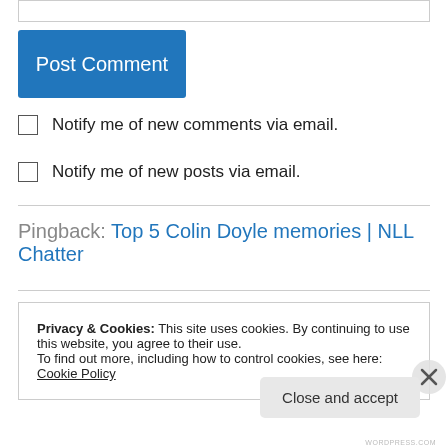[input box]
Post Comment
Notify me of new comments via email.
Notify me of new posts via email.
Pingback: Top 5 Colin Doyle memories | NLL Chatter
Privacy & Cookies: This site uses cookies. By continuing to use this website, you agree to their use.
To find out more, including how to control cookies, see here: Cookie Policy
Close and accept